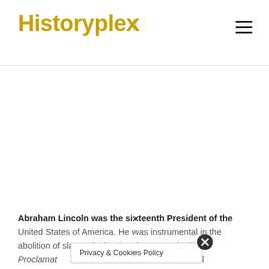Historyplex
[Figure (other): Empty white advertisement/placeholder area below the header navigation]
Abraham Lincoln was the sixteenth President of the United States of America. He was instrumental in the abolition of slavery by issuing the Emancipation Proclamation. He was also instrumental
Privacy & Cookies Policy